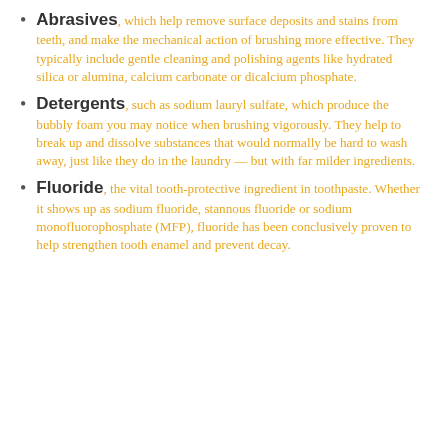Abrasives, which help remove surface deposits and stains from teeth, and make the mechanical action of brushing more effective. They typically include gentle cleaning and polishing agents like hydrated silica or alumina, calcium carbonate or dicalcium phosphate.
Detergents, such as sodium lauryl sulfate, which produce the bubbly foam you may notice when brushing vigorously. They help to break up and dissolve substances that would normally be hard to wash away, just like they do in the laundry — but with far milder ingredients.
Fluoride, the vital tooth-protective ingredient in toothpaste. Whether it shows up as sodium fluoride, stannous fluoride or sodium monofluorophosphate (MFP), fluoride has been conclusively proven to help strengthen tooth enamel and prevent decay.